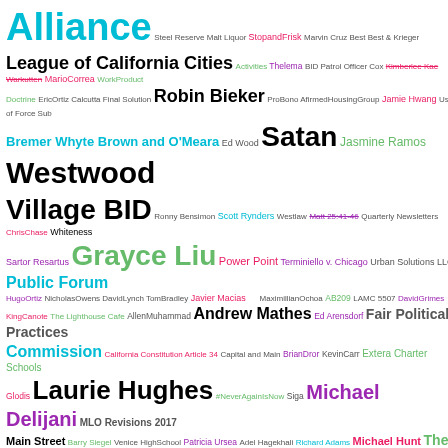[Figure (infographic): Word cloud containing names of people, organizations, laws, and concepts related to Los Angeles government and politics. Words appear in various sizes and colors (cyan, green, orange, purple, gray, black, red) indicating frequency or importance. Largest words include Alliance, Westwood Village BID, Grayce Liu, Public Forum, Andrew Mathes, Fair Political Practices Commission, Laurie Hughes, Michael Delijani, Bob Wieckowski, Government Code 54953, Carol Sobel, CD9, and others.]